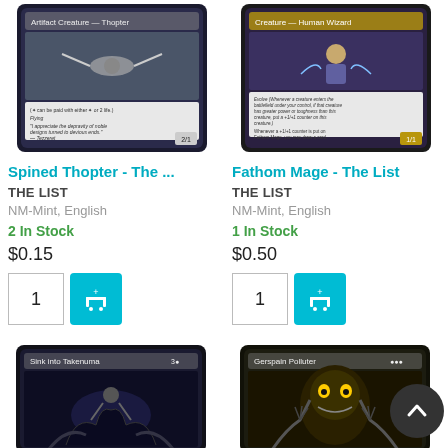[Figure (photo): Magic: The Gathering card - Spined Thopter, The List edition, Artifact Creature Thopter card art showing mechanical creature]
[Figure (photo): Magic: The Gathering card - Fathom Mage, The List edition, Creature Human Wizard card art]
Spined Thopter - The ...
Fathom Mage - The List
THE LIST
THE LIST
NM-Mint, English
NM-Mint, English
2 In Stock
1 In Stock
$0.15
$0.50
[Figure (photo): Magic: The Gathering card - Sink into Takenuma, The List edition, partially visible card art]
[Figure (photo): Magic: The Gathering card - Gerspain Polluter, partially visible card art]